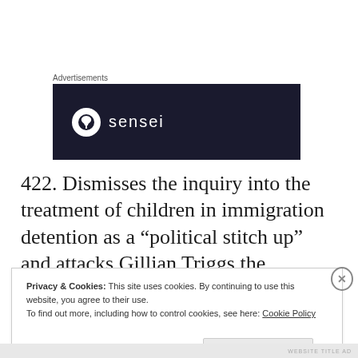Advertisements
[Figure (logo): Dark banner advertisement showing the 'sensei' brand logo with a circular tree icon on a dark navy/black background]
422. Dismisses the inquiry into the treatment of children in immigration detention as a “political stitch up” and attacks Gillian Triggs the President of the Human Rights Commission – 24 February 2014
Privacy & Cookies: This site uses cookies. By continuing to use this website, you agree to their use.
To find out more, including how to control cookies, see here: Cookie Policy
WEBSITE TITLE AD